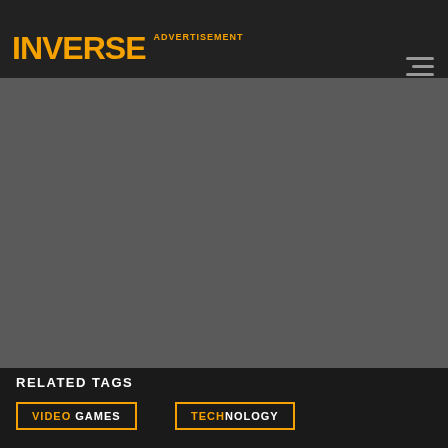INVERSE  ADVERTISEMENT
[Figure (other): Advertisement gray placeholder area]
RELATED TAGS
VIDEO GAMES
TECHNOLOGY